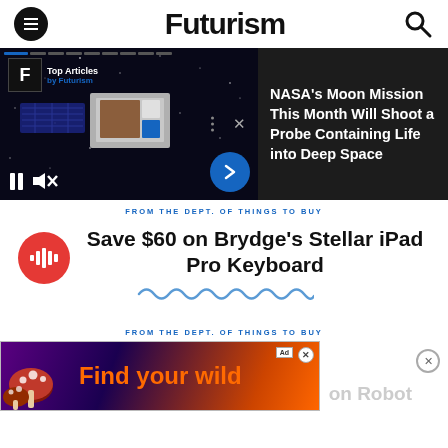Futurism
[Figure (screenshot): Video player showing a satellite in space with Top Articles by Futurism overlay, video controls (pause, mute), and a next arrow button. Progress bar shown at top.]
NASA's Moon Mission This Month Will Shoot a Probe Containing Life into Deep Space
FROM THE DEPT. OF THINGS TO BUY
Save $60 on Brydge's Stellar iPad Pro Keyboard
[Figure (illustration): Wavy squiggle line decoration]
FROM THE DEPT. OF THINGS TO BUY
[Figure (photo): Ad banner: Find your wild, with mushrooms on purple/orange background]
on Robot